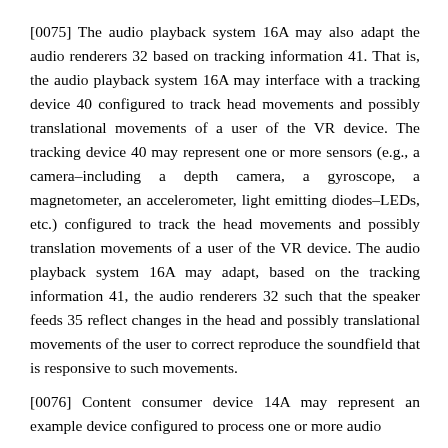[0075] The audio playback system 16A may also adapt the audio renderers 32 based on tracking information 41. That is, the audio playback system 16A may interface with a tracking device 40 configured to track head movements and possibly translational movements of a user of the VR device. The tracking device 40 may represent one or more sensors (e.g., a camera–including a depth camera, a gyroscope, a magnetometer, an accelerometer, light emitting diodes–LEDs, etc.) configured to track the head movements and possibly translation movements of a user of the VR device. The audio playback system 16A may adapt, based on the tracking information 41, the audio renderers 32 such that the speaker feeds 35 reflect changes in the head and possibly translational movements of the user to correct reproduce the soundfield that is responsive to such movements.
[0076] Content consumer device 14A may represent an example device configured to process one or more audio